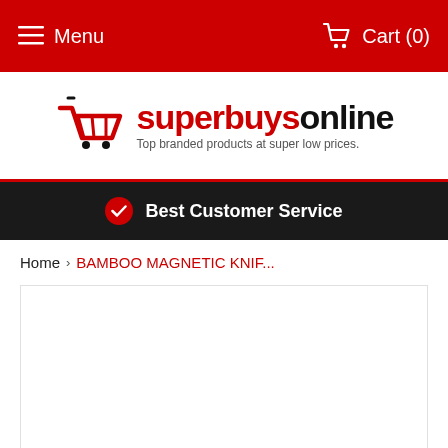Menu   Cart (0)
[Figure (logo): Superbuysonline logo with shopping cart icon and tagline: Top branded products at super low prices.]
Best Customer Service
Home › BAMBOO MAGNETIC KNIF...
[Figure (photo): Product image area (empty/white box with border)]